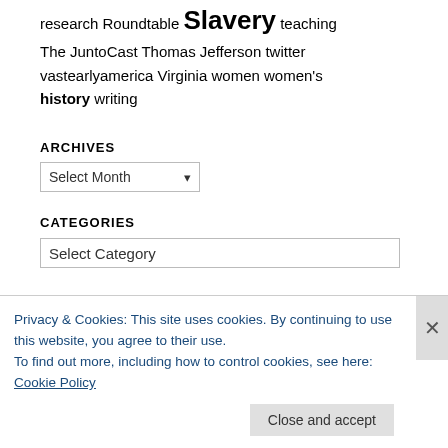research Roundtable Slavery teaching The JuntoCast Thomas Jefferson twitter vastearlyamerica Virginia women women's history writing
ARCHIVES
Select Month
CATEGORIES
Select Category
OTHER BLOGS
Religion in American History
Privacy & Cookies: This site uses cookies. By continuing to use this website, you agree to their use.
To find out more, including how to control cookies, see here: Cookie Policy
Close and accept